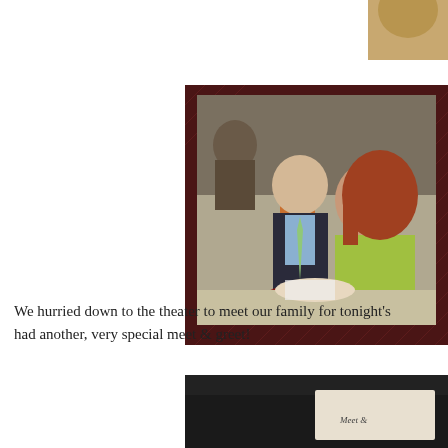[Figure (photo): Partial photo cropped at top-right corner, showing a tan/brown background, cut off.]
[Figure (photo): Photo of a man in a dark suit with a light green tie and a woman with long red hair in a yellow-green jacket, seated at a restaurant table. There is a Disney Fantasy logo plaque on the table. Background shows a restaurant with dark wood paneling and diamond pattern decor.]
We hurried down to the theater to meet our family for tonight's had another, very special meet & greet!
[Figure (photo): Partial photo at bottom showing a dark background with what appears to be a card or document with text 'Meet &' visible.]